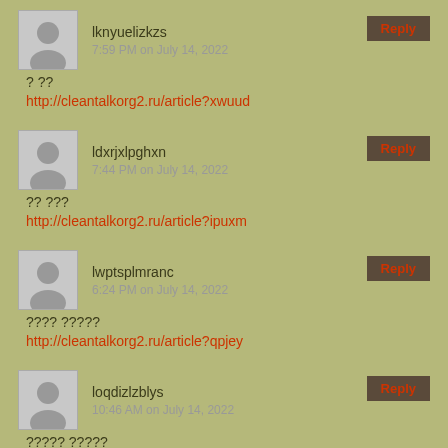lknyuelizkzs
7:59 PM on July 14, 2022
? ??
http://cleantalkorg2.ru/article?xwuud
ldxrjxlpghxn
7:44 PM on July 14, 2022
?? ???
http://cleantalkorg2.ru/article?ipuxm
lwptsplmranc
6:24 PM on July 14, 2022
???? ?????
http://cleantalkorg2.ru/article?qpjey
loqdizlzblys
10:46 AM on July 14, 2022
????? ?????
http://cleantalkorg2.ru/article?lgczq
lkprhqlhlgsl